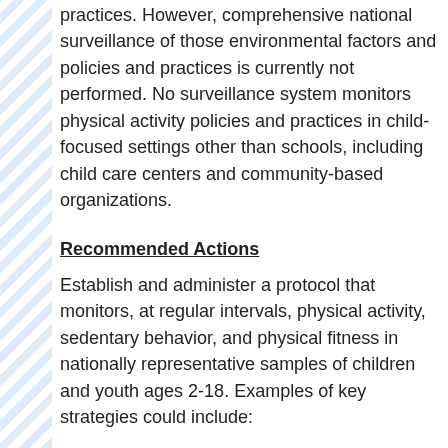practices. However, comprehensive national surveillance of those environmental factors and policies and practices is currently not performed. No surveillance system monitors physical activity policies and practices in child-focused settings other than schools, including child care centers and community-based organizations.
Recommended Actions
Establish and administer a protocol that monitors, at regular intervals, physical activity, sedentary behavior, and physical fitness in nationally representative samples of children and youth ages 2-18. Examples of key strategies could include:
Incorporate into future cycles of NHANES physical activity and sedentary behavior measured by wearable devices, and measures